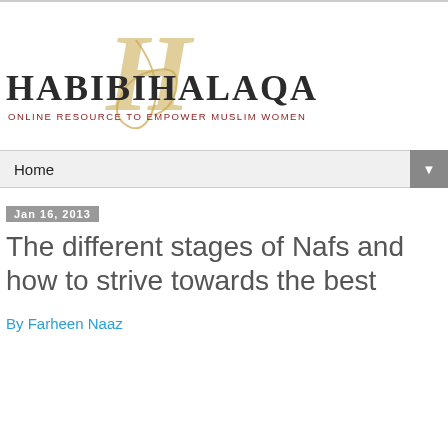[Figure (logo): HabibiHalaqas logo with decorative script H overlaid, text HABIBIHALAQAS in serif font, subtitle ONLINE RESOURCE TO EMPOWER MUSLIM WOMEN in dark red]
Home ▼
Jan 16, 2013
The different stages of Nafs and how to strive towards the best
By Farheen Naaz